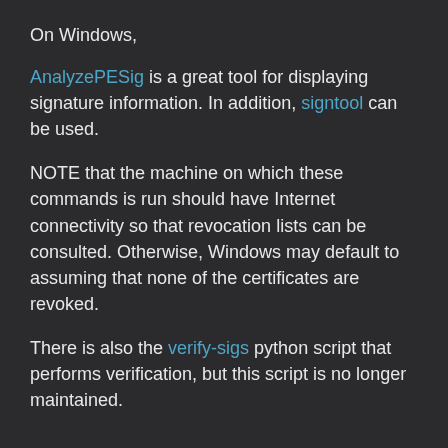On Windows,
AnalyzePESig is a great tool for displaying signature information. In addition, signtool can be used.
NOTE that the machine on which these commands is run should have Internet connectivity so that revocation lists can be consulted. Otherwise, Windows may default to assuming that none of the certificates are revoked.
There is also the verify-sigs python script that performs verification, but this script is no longer maintained.
Extracting the Signature
On Linux, the osslsigncode command can be used to